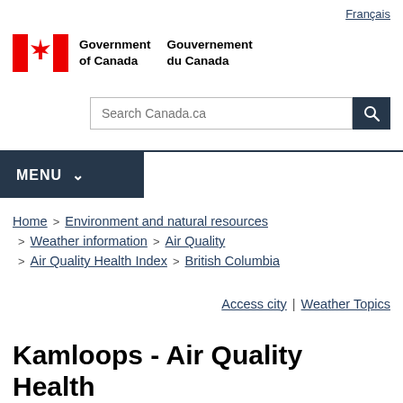Français
[Figure (logo): Government of Canada / Gouvernement du Canada logo with Canadian flag maple leaf icon]
Search Canada.ca
MENU
Home > Environment and natural resources
> Weather information > Air Quality
> Air Quality Health Index > British Columbia
Access city | Weather Topics
Kamloops - Air Quality Health